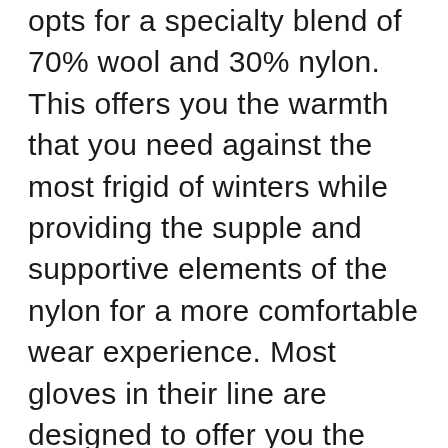opts for a specialty blend of 70% wool and 30% nylon. This offers you the warmth that you need against the most frigid of winters while providing the supple and supportive elements of the nylon for a more comfortable wear experience. Most gloves in their line are designed to offer you the option to either wear them as a standalone, midweight glove, or add to your cold-weather attire by providing a great liner to continue to layer off of. The versatility offered for the price point is affordable and a great deal for those who are looking to find more domestic